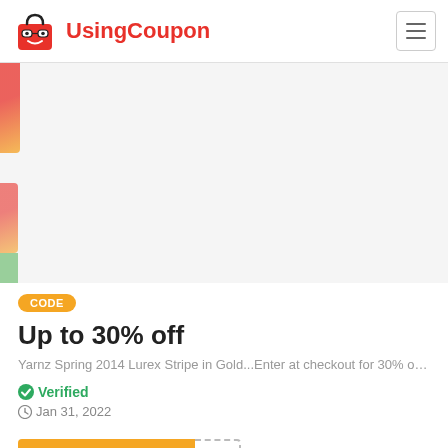UsingCoupon
[Figure (illustration): Promotional banner area with decorative red/orange elements on the left edge and a light grey background]
CODE
Up to 30% off
Yarnz Spring 2014 Lurex Stripe in Gold...Enter at checkout for 30% off!...
✔ Verified
Jan 31, 2022
Get Promo Code